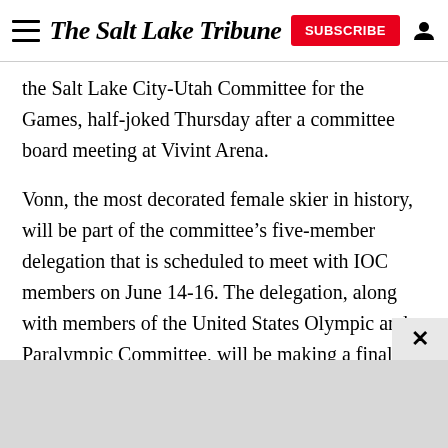The Salt Lake Tribune
the Salt Lake City-Utah Committee for the Games, half-joked Thursday after a committee board meeting at Vivint Arena.
Vonn, the most decorated female skier in history, will be part of the committee’s five-member delegation that is scheduled to meet with IOC members on June 14-16. The delegation, along with members of the United States Olympic and Paralympic Committee, will be making a final push to convince the IOC to designate